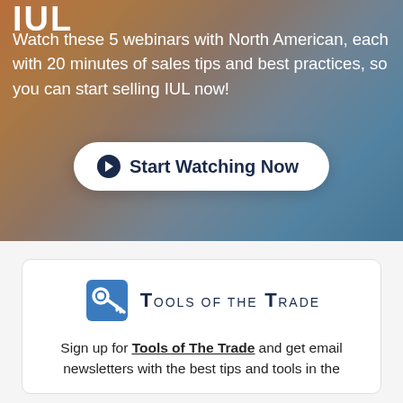IUL
Watch these 5 webinars with North American, each with 20 minutes of sales tips and best practices, so you can start selling IUL now!
[Figure (other): Button: Start Watching Now with play icon]
[Figure (logo): Tools of the Trade logo with key icon]
Sign up for Tools of The Trade and get email newsletters with the best tips and tools in the